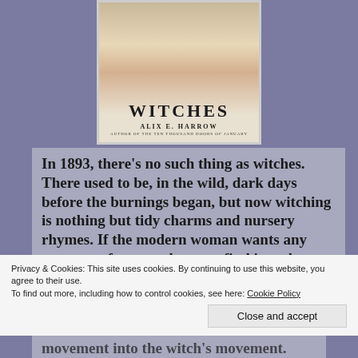[Figure (illustration): Book cover of 'Witches' by Alix E. Harrow, author of The Ten Thousand Doors of January. Shows decorative illustration with roses, black cat, and ribbon banner with title.]
In 1893, there's no such thing as witches. There used to be, in the wild, dark days before the burnings began, but now witching is nothing but tidy charms and nursery rhymes. If the modern woman wants any measure of power, she must find it at the ballot box.
Privacy & Cookies: This site uses cookies. By continuing to use this website, you agree to their use.
To find out more, including how to control cookies, see here: Cookie Policy
Close and accept
movement into the witch's movement. Stalked by